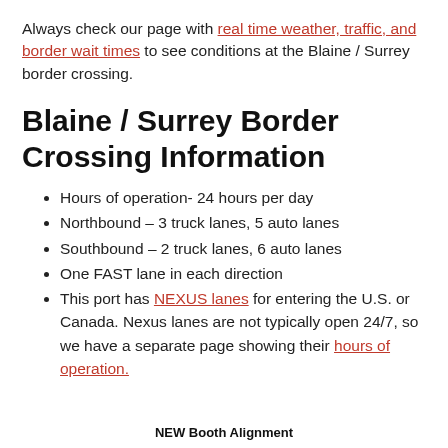Always check our page with real time weather, traffic, and border wait times to see conditions at the Blaine / Surrey border crossing.
Blaine / Surrey Border Crossing Information
Hours of operation- 24 hours per day
Northbound – 3 truck lanes, 5 auto lanes
Southbound – 2 truck lanes, 6 auto lanes
One FAST lane in each direction
This port has NEXUS lanes for entering the U.S. or Canada. Nexus lanes are not typically open 24/7, so we have a separate page showing their hours of operation.
NEW Booth Alignment